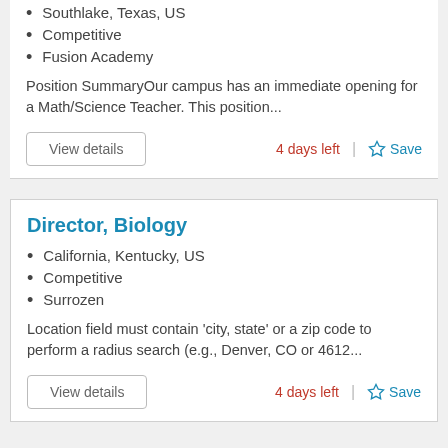Southlake, Texas, US
Competitive
Fusion Academy
Position SummaryOur campus has an immediate opening for a Math/Science Teacher. This position...
4 days left
Save
Director, Biology
California, Kentucky, US
Competitive
Surrozen
Location field must contain 'city, state' or a zip code to perform a radius search (e.g., Denver, CO or 4612...
4 days left
Save